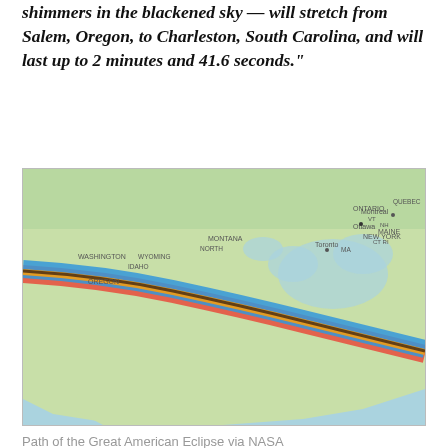shimmers in the blackened sky — will stretch from Salem, Oregon, to Charleston, South Carolina, and will last up to 2 minutes and 41.6 seconds."
[Figure (map): Map of the United States showing the path of the Great American Eclipse (a diagonal band of colored stripes from Oregon to South Carolina), with location markers and geographic labels including state names, cities, and neighboring countries.]
Path of the Great American Eclipse via NASA
While folks in Atlanta will be able to see a short partial eclipse from spots in the city, many of us are planning to head north to see the full eclipse. Chase's school will be